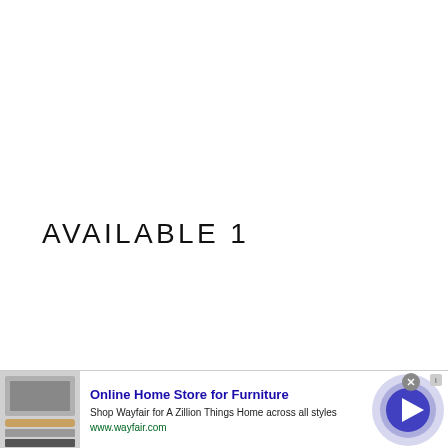AVAILABLE 1
[Figure (screenshot): Advertisement banner for Wayfair online furniture store. Shows a product image on the left (kitchen appliances/stove), ad text in center reading 'Online Home Store for Furniture', 'Shop Wayfair for A Zillion Things Home across all styles', 'www.wayfair.com', and a circular arrow button graphic on the right. A close (X) button appears in the top right of the ad.]